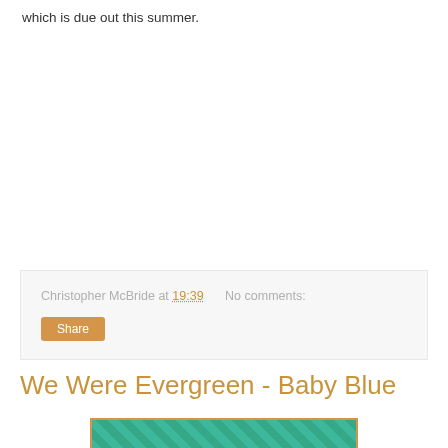which is due out this summer.
Christopher McBride at 19:39   No comments:
Share
We Were Evergreen - Baby Blue
[Figure (photo): Thumbnail image showing teal/green textured background with partial figures, bordered with orange/amber frame]